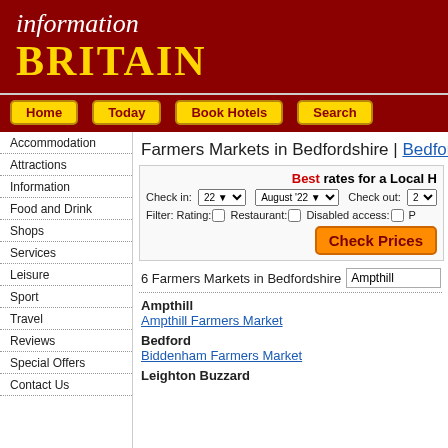information BRITAIN
Home | Today | Book Hotels | Search
Accommodation
Attractions
Information
Food and Drink
Shops
Services
Leisure
Sport
Travel
Reviews
Special Offers
Contact Us
Farmers Markets in Bedfordshire | Bedfordshire
Best rates for a Local Hotel
Check in: 22 August '22 Check out: 22
Filter: Rating: Restaurant: Disabled access:
Check Prices
6 Farmers Markets in Bedfordshire Ampthill
Ampthill
Ampthill Farmers Market
Bedford
Biddenham Farmers Market
Leighton Buzzard